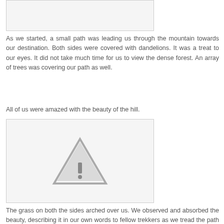[Figure (photo): Top image placeholder with light gray background and border]
As we started, a small path was leading us through the mountain towards our destination. Both sides were covered with dandelions. It was a treat to our eyes. It did not take much time for us to view the dense forest. An array of trees was covering our path as well.
All of us were amazed with the beauty of the hill.
[Figure (photo): Image placeholder with warning/broken image icon triangle in gray]
The grass on both the sides arched over us. We observed and absorbed the beauty, describing it in our own words to fellow trekkers as we tread the path alongwith with Karthi and Vasanth, our trek guides.